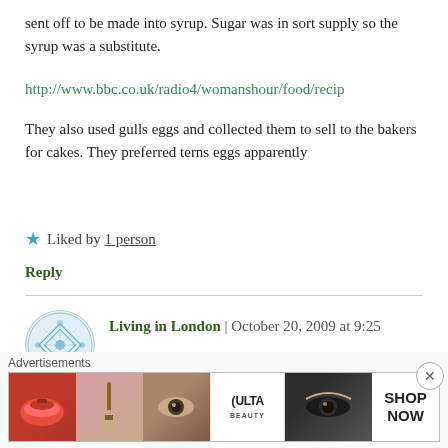sent off to be made into syrup. Sugar was in sort supply so the syrup was a substitute.
http://www.bbc.co.uk/radio4/womanshour/food/recip
They also used gulls eggs and collected them to sell to the bakers for cakes. They preferred terns eggs apparently
★ Liked by 1 person
Reply
Living in London | October 20, 2009 at 9:25 am
[Figure (screenshot): Advertisements banner with beauty/cosmetics ad images including lips, makeup brush, eye, Ulta Beauty logo, and SHOP NOW button]
Advertisements